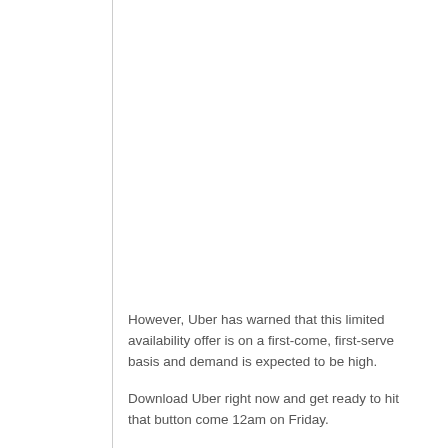However, Uber has warned that this limited availability offer is on a first-come, first-serve basis and demand is expected to be high.
Download Uber right now and get ready to hit that button come 12am on Friday.